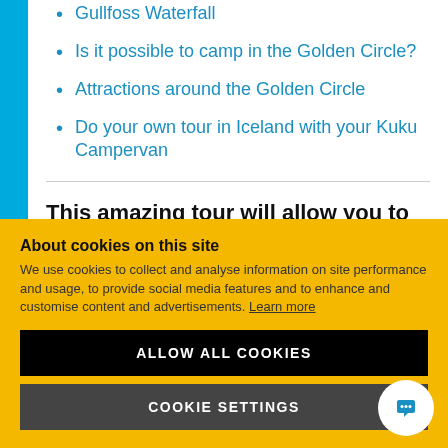Gullfoss Waterfall
Is it possible to camp in the Golden Circle?
Attractions around the Golden Circle
Do your own tour in Iceland with your Kuku Campervan
This amazing tour will allow you to discover the most important sites of Iceland in just one
About cookies on this site
We use cookies to collect and analyse information on site performance and usage, to provide social media features and to enhance and customise content and advertisements. Learn more
ALLOW ALL COOKIES
COOKIE SETTINGS